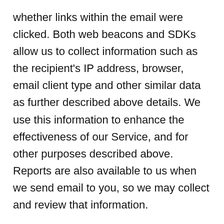whether links within the email were clicked. Both web beacons and SDKs allow us to collect information such as the recipient's IP address, browser, email client type and other similar data as further described above details. We use this information to enhance the effectiveness of our Service, and for other purposes described above. Reports are also available to us when we send email to you, so we may collect and review that information.
D. Your Data Protection Rights
To access; correct; update; port; delete; restrict; or object to our processing of your Personal Information.